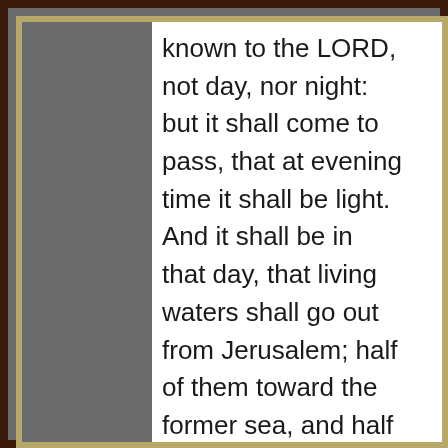known to the LORD, not day, nor night: but it shall come to pass, that at evening time it shall be light. And it shall be in that day, that living waters shall go out from Jerusalem; half of them toward the former sea, and half of them toward the hinder sea: in summer and in winter shall it be.